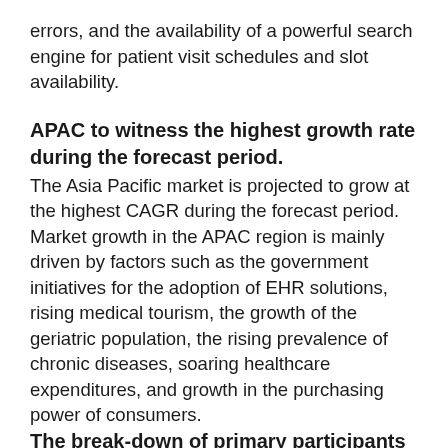errors, and the availability of a powerful search engine for patient visit schedules and slot availability.
APAC to witness the highest growth rate during the forecast period.
The Asia Pacific market is projected to grow at the highest CAGR during the forecast period. Market growth in the APAC region is mainly driven by factors such as the government initiatives for the adoption of EHR solutions, rising medical tourism, the growth of the geriatric population, the rising prevalence of chronic diseases, soaring healthcare expenditures, and growth in the purchasing power of consumers.
The break-down of primary participants